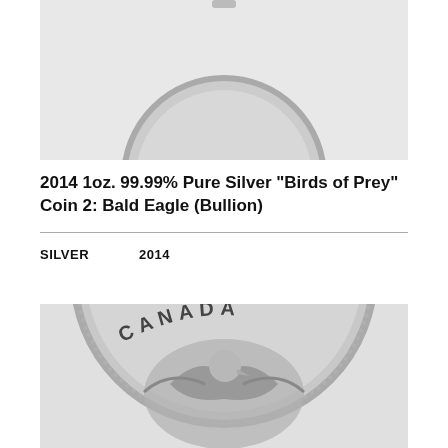[Figure (photo): Top portion of a coin product photo on light gray background, partially cropped at top]
2014 1oz. 99.99% Pure Silver "Birds of Prey" Coin 2: Bald Eagle (Bullion)
SILVER    2014
[Figure (photo): Lower portion of a silver Canadian coin showing 'CANADA' inscription and a Bald Eagle design, on light gray background]